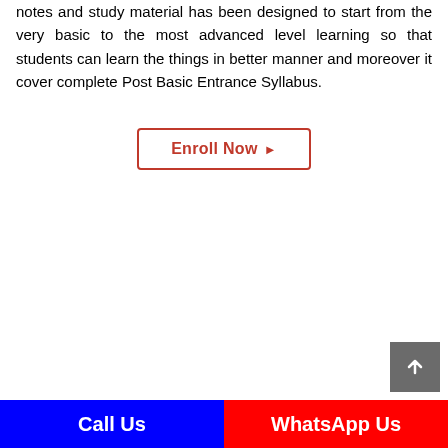notes and study material has been designed to start from the very basic to the most advanced level learning so that students can learn the things in better manner and moreover it cover complete Post Basic Entrance Syllabus.
[Figure (other): Enroll Now button with red border and red text, with a right-pointing arrow]
[Figure (other): Grey scroll-to-top button with upward arrow icon in bottom right corner]
Call Us   WhatsApp Us